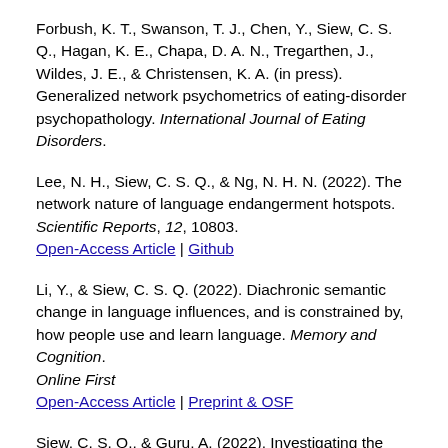Forbush, K. T., Swanson, T. J., Chen, Y., Siew, C. S. Q., Hagan, K. E., Chapa, D. A. N., Tregarthen, J., Wildes, J. E., & Christensen, K. A. (in press). Generalized network psychometrics of eating-disorder psychopathology. International Journal of Eating Disorders.
Lee, N. H., Siew, C. S. Q., & Ng, N. H. N. (2022). The network nature of language endangerment hotspots. Scientific Reports, 12, 10803. [Open-Access Article] [Github]
Li, Y., & Siew, C. S. Q. (2022). Diachronic semantic change in language influences, and is constrained by, how people use and learn language. Memory and Cognition. Online First [Open-Access Article] [Preprint & OSF]
Siew, C. S. Q., & Guru, A. (2022). Investigating the network structure of domain-specific knowledge using the ... Memory and Cognition. Online First